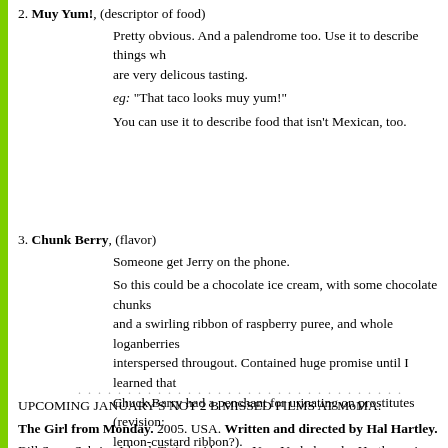2. Muy Yum!, (descriptor of food)
Pretty obvious. And a palendrome too. Use it to describe things wh are very delicous tasting.
eg: "That taco looks muy yum!"
You can use it to describe food that isn't Mexican, too.
3. Chunk Berry, (flavor)
Someone get Jerry on the phone.
So this could be a chocolate ice cream, with some chocolate chunks and a swirling ribbon of raspberry puree, and whole loganberries interspersed througout. Contained huge promise until I learned that Chuck Barry had a penchant for urinating on prostitutes (revision: lemon-custard ribbon?).
Maybe we'll have to name it after Chuck Barris instead, and call it Chunk Berries?
UPCOMING JANUARY'S NOT 2 B MISSED FILMS AT MoMA:
The Girl from Monday. 2005. USA. Written and directed by Hal Hartley.
Bill Sage, Sabrina Lloyd, Tatiana Abracos. New York–based ...Hartley enjoys international reputation for his work in film (The Unbelievable Truth, 1989),